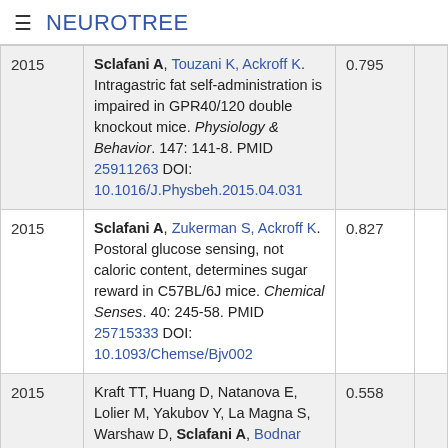≡ NEUROTREE
| Year | Reference | Score |
| --- | --- | --- |
| 2015 | Sclafani A, Touzani K, Ackroff K. Intragastric fat self-administration is impaired in GPR40/120 double knockout mice. Physiology & Behavior. 147: 141-8. PMID 25911263 DOI: 10.1016/J.Physbeh.2015.04.031 | 0.795 |
| 2015 | Sclafani A, Zukerman S, Ackroff K. Postoral glucose sensing, not caloric content, determines sugar reward in C57BL/6J mice. Chemical Senses. 40: 245-58. PMID 25715333 DOI: 10.1093/Chemse/Bjv002 | 0.827 |
| 2015 | Kraft TT, Huang D, Natanova E, Lolier M, Yakubov Y, La Magna S, Warshaw D, Sclafani A, Bodnar RJ. Dopamine D1 and opioid receptor antagonist-induced reductions of fructose and saccharin intake in BALB/c and SWR inbred mice. Pharmacology, Biochemistry, and Behavior. 131: 13-8. PMID 25625602 DOI: 10.1016/j.pbb.2015.01.010 | 0.558 |